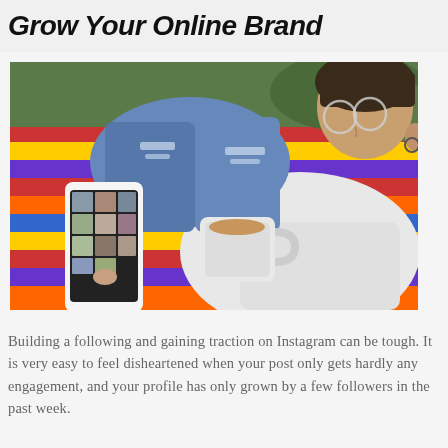Grow Your Online Brand
[Figure (photo): A young woman sitting in a colorful hammock, wearing ripped jeans and a white knit sweater, holding a smartphone showing Instagram, and holding a white mug of tea/coffee. She is wearing round glasses.]
Building a following and gaining traction on Instagram can be tough. It is very easy to feel disheartened when your post only gets hardly any engagement, and your profile has only grown by a few followers in the past week.